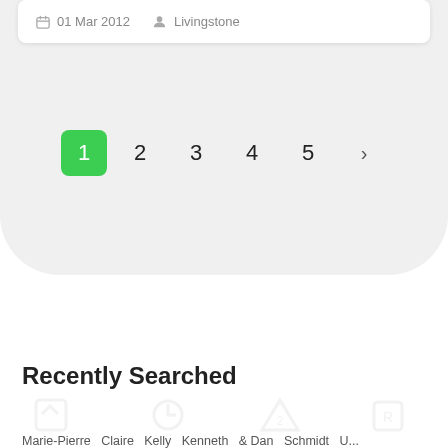01 Mar 2012   Livingstone
[Figure (screenshot): Pagination control showing page 1 (green/active), 2, 3, 4, 5, and a right arrow next button]
Recently Searched
Marie-Pierre   Claire   Kelly   Kenneth   & Dan   Schmidt   U...